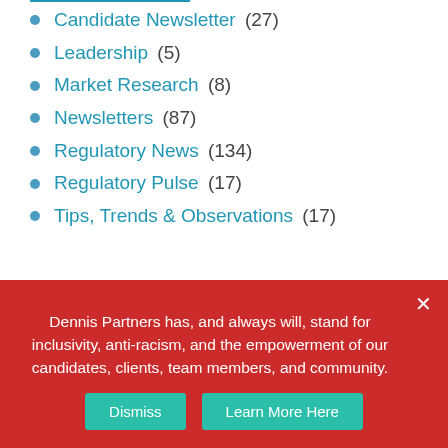Candidate Newsletter (27)
Leadership (5)
Market Research (8)
Newsletters (87)
Regulatory News (134)
Regulatory Pulse (17)
Tips, Trends & Observations (17)
POPULAR TAGS
Dennis Partners has, and always will, stand for inclusivity, anti-racism, and the empowerment of our candidates, clients, team members, and community.